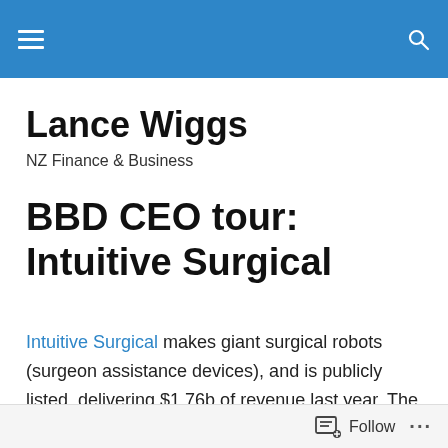Lance Wiggs — NZ Finance & Business (header bar with menu and search)
Lance Wiggs
NZ Finance & Business
BBD CEO tour: Intuitive Surgical
Intuitive Surgical makes giant surgical robots (surgeon assistance devices), and is publicly listed, delivering $1.76b of revenue last year. The have 2341 of their systems installed globally, mostly in the US and with 5 in NZ. Their revenue model is clever, with $700m of the total